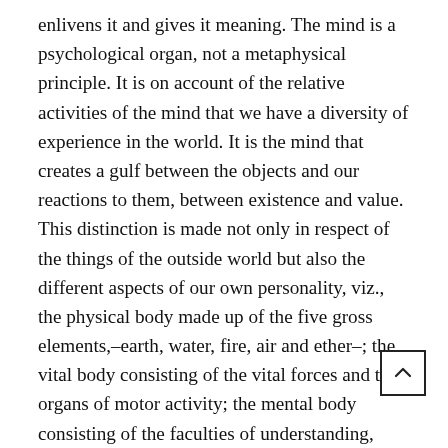enlivens it and gives it meaning. The mind is a psychological organ, not a metaphysical principle. It is on account of the relative activities of the mind that we have a diversity of experience in the world. It is the mind that creates a gulf between the objects and our reactions to them, between existence and value. This distinction is made not only in respect of the things of the outside world but also the different aspects of our own personality, viz., the physical body made up of the five gross elements,–earth, water, fire, air and ether–; the vital body consisting of the vital forces and the organs of motor activity; the mental body consisting of the faculties of understanding, feeling, willing, memory and the like, together with the five senses of perception; and a primal causal element which is experienced by us in the state of deep sleep. For